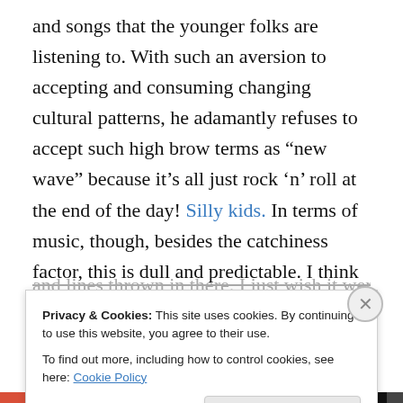and songs that the younger folks are listening to. With such an aversion to accepting and consuming changing cultural patterns, he adamantly refuses to accept such high brow terms as “new wave” because it’s all just rock ‘n’ roll at the end of the day! Silly kids. In terms of music, though, besides the catchiness factor, this is dull and predictable. I think Billy Joel thinks that the nasally vocal style he’s appropriated here is edgy, but it just reminds me of Frankie Avalon, which is never a good thing. Still, I can’t say this is all bad, as there are some neat little rhymes and lines thrown in there. I just wish it weren’t from Billy
Privacy & Cookies: This site uses cookies. By continuing to use this website, you agree to their use.
To find out more, including how to control cookies, see here: Cookie Policy
Close and accept